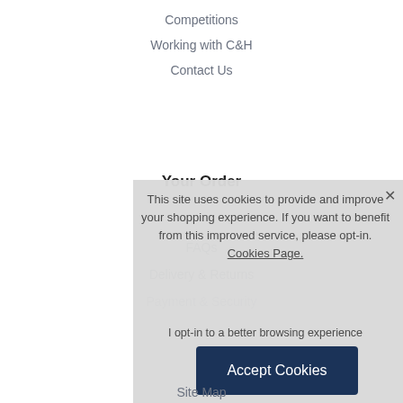Competitions
Working with C&H
Contact Us
Your Order
FAQs
Delivery & Returns
Payment & Security
This site uses cookies to provide and improve your shopping experience. If you want to benefit from this improved service, please opt-in. Cookies Page.
I opt-in to a better browsing experience
Accept Cookies
Site Map